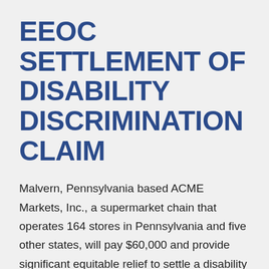EEOC SETTLEMENT OF DISABILITY DISCRIMINATION CLAIM
Malvern, Pennsylvania based ACME Markets, Inc., a supermarket chain that operates 164 stores in Pennsylvania and five other states, will pay $60,000 and provide significant equitable relief to settle a disability discrimination charge filed by the U.S. Equal Employment Opportunity Commission